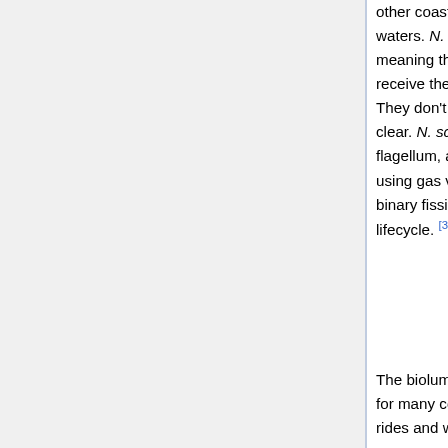other coastal regions and can be found in both warm and cold waters. N. scintillans are heterotrophic and non-photosynthetic, meaning they receive their carbon from organic compounds and receive their energy through the ingestion of organic substances. They don't have any chloroplasts so, their cytoplasm is relatively clear. N. scintillans are non-motile, even though they possess a flagellum, and only move vertically by changing their buoyancy using gas vacuoles.[2] N. scintillans can reproduce asexually, by binary fission, and sexually, using isogametes through a diplontic lifecycle. [3]
The bioluminescent property of N. scintillans is a tourist attraction for many countries throughout the world. People would take boat rides and watch these